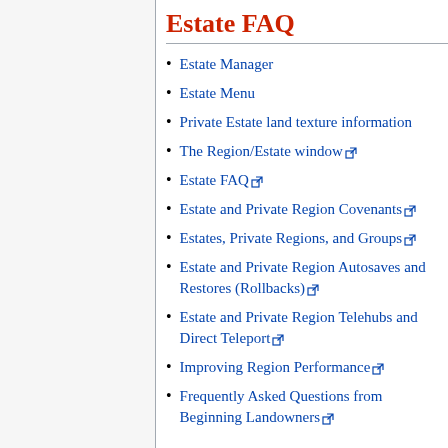Estate FAQ
Estate Manager
Estate Menu
Private Estate land texture information
The Region/Estate window
Estate FAQ
Estate and Private Region Covenants
Estates, Private Regions, and Groups
Estate and Private Region Autosaves and Restores (Rollbacks)
Estate and Private Region Telehubs and Direct Teleport
Improving Region Performance
Frequently Asked Questions from Beginning Landowners